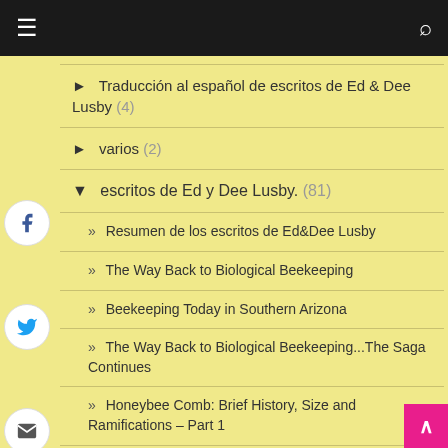Navigation menu header with hamburger and search icons
► Traducción al español de escritos de Ed & Dee Lusby (4)
► varios (2)
▼ escritos de Ed y Dee Lusby. (81)
» Resumen de los escritos de Ed&Dee Lusby
» The Way Back to Biological Beekeeping
» Beekeeping Today in Southern Arizona
» The Way Back to Biological Beekeeping...The Saga Continues
» Honeybee Comb: Brief History, Size and Ramifications – Part 1
» Honeybee Comb: Size and Ramifications – Part
» Honeybee Comb: Size and Ramifications – Part 2